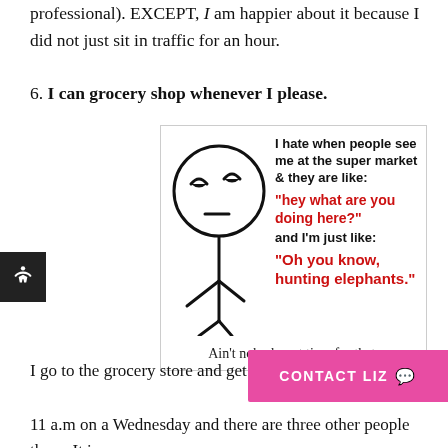professional). EXCEPT, I am happier about it because I did not just sit in traffic for an hour.
6. I can grocery shop whenever I please.
[Figure (illustration): Meme image of a stick figure with a deadpan expression. Text reads: 'I hate when people see me at the super market & they are like: hey what are you doing here? and I'm just like: Oh you know, hunting elephants.' Caption below: 'Ain't nobody got time for that.']
I go to the grocery store and get a VIP par
11 a.m on a Wednesday and there are three other people there. It is